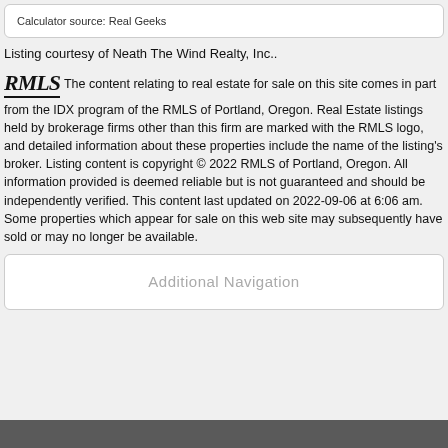Calculator source: Real Geeks
Listing courtesy of Neath The Wind Realty, Inc..
The content relating to real estate for sale on this site comes in part from the IDX program of the RMLS of Portland, Oregon. Real Estate listings held by brokerage firms other than this firm are marked with the RMLS logo, and detailed information about these properties include the name of the listing's broker. Listing content is copyright © 2022 RMLS of Portland, Oregon. All information provided is deemed reliable but is not guaranteed and should be independently verified. This content last updated on 2022-09-06 at 6:06 am. Some properties which appear for sale on this web site may subsequently have sold or may no longer be available.
Additional Navigation